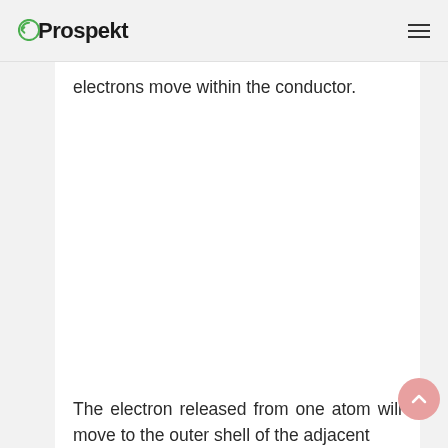Prospekt
electrons move within the conductor.
The electron released from one atom will move to the outer shell of the adjacent